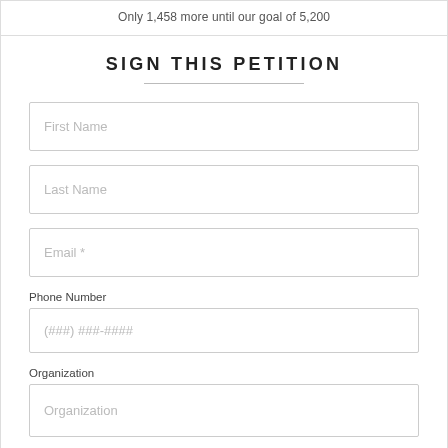Only 1,458 more until our goal of 5,200
SIGN THIS PETITION
First Name
Last Name
Email *
Phone Number
(###) ###-####
Organization
Organization